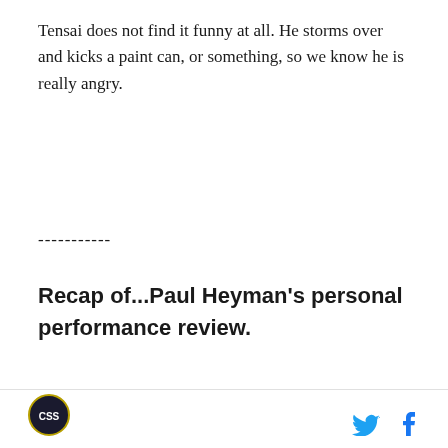Tensai does not find it funny at all. He storms over and kicks a paint can, or something, so we know he is really angry.
-----------
Recap of...Paul Heyman's personal performance review.
[Figure (screenshot): Black video player with AD badge, error message 'The media could not be loaded, either because the server or network failed or because the format is not supported.', a DISCOVER button, and an X close icon in the center.]
CSS logo and social media icons (Twitter, Facebook)